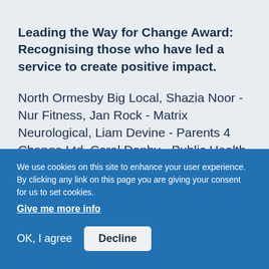Leading the Way for Change Award: Recognising those who have led a service to create positive impact.
North Ormesby Big Local, Shazia Noor - Nur Fitness, Jan Rock - Matrix Neurological, Liam Devine - Parents 4 Change Ltd, Coral Danby - Public Health, Sophie Richardson, Michael Moorhouse, Sandra Bell - Community Mental Health Transformation
We use cookies on this site to enhance your user experience. By clicking any link on this page you are giving your consent for us to set cookies.
Give me more info
OK, I agree
Decline